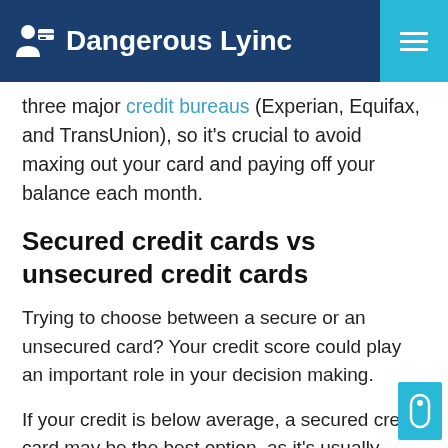Dangerous Lyinc
three major credit bureaus (Experian, Equifax, and TransUnion), so it's crucial to avoid maxing out your card and paying off your balance each month.
Secured credit cards vs unsecured credit cards
Trying to choose between a secure or an unsecured card? Your credit score could play an important role in your decision making.
If your credit is below average, a secured credit card may be the best option, as it's usually easier to qualify with poor credit (scores below 580) or no credit.
If your credit is already good or excellent (scores of 670 and above), an unsecured card may give you better